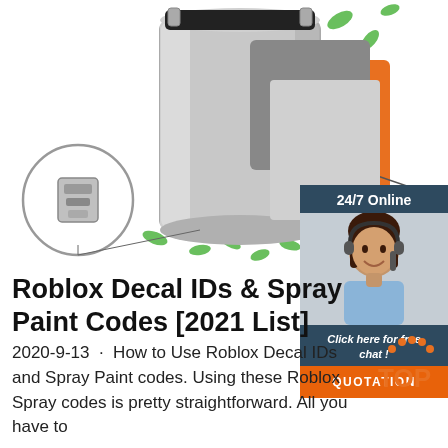[Figure (photo): Product photo of a stainless steel paint spray container/drum with orange and gray color layers shown, green leaf decorations, and a circular zoom inset showing a metal clasp detail]
[Figure (photo): Advertisement overlay showing a woman with headset smiling, '24/7 Online' header, 'Click here for free chat!' text, and orange QUOTATION button]
Roblox Decal IDs & Spray Paint Codes [2021 List]
2020-9-13  ·  How to Use Roblox Decal IDs and Spray Paint codes. Using these Roblox Spray codes is pretty straightforward. All you have to
[Figure (logo): Orange and dotted 'TOP' badge/logo in bottom right corner]